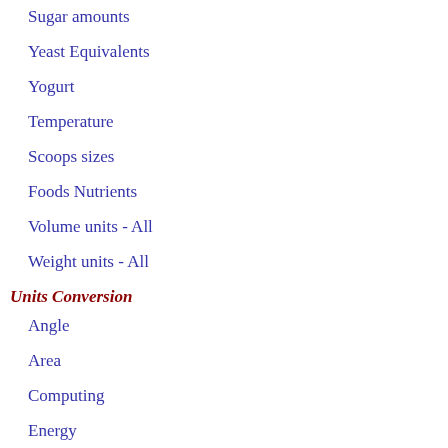Sugar amounts
Yeast Equivalents
Yogurt
Temperature
Scoops sizes
Foods Nutrients
Volume units - All
Weight units - All
Units Conversion
Angle
Area
Computing
Energy